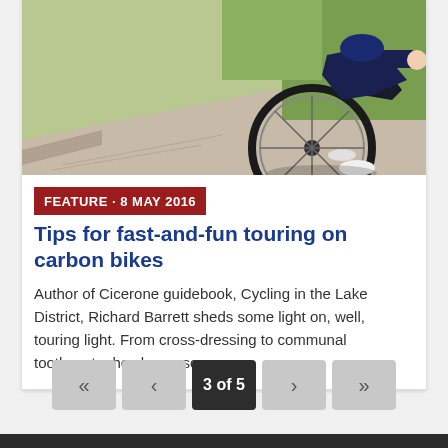[Figure (photo): Cyclist on a road bike, photographed from behind/side, riding on a road with greenery in background. Partial view showing the bike wheel and rider's legs.]
FEATURE · 8 MAY 2016
Tips for fast-and-fun touring on carbon bikes
Author of Cicerone guidebook, Cycling in the Lake District, Richard Barrett sheds some light on, well, touring light. From cross-dressing to communal toothpaste, he shares some...
3 of 5